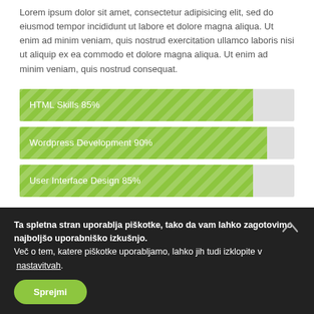Lorem ipsum dolor sit amet, consectetur adipisicing elit, sed do eiusmod tempor incididunt ut labore et dolore magna aliqua. Ut enim ad minim veniam, quis nostrud exercitation ullamco laboris nisi ut aliquip ex ea commodo et dolore magna aliqua. Ut enim ad minim veniam, quis nostrud consequat.
[Figure (infographic): Three horizontal progress bars: HTML Skills 85% (green fill with diagonal stripes), Wordpress Development 90% (green fill with diagonal stripes), User Interface Design 85% (green fill with diagonal stripes). Each bar has a grey unfilled remainder.]
Ta spletna stran uporablja piškotke, tako da vam lahko zagotovimo najboljšo uporabniško izkušnjo. Več o tem, katere piškotke uporabljamo, lahko jih tudi izklopite v nastavitvah.
Sprejmi